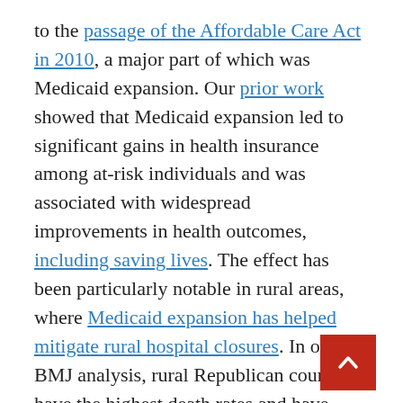to the passage of the Affordable Care Act in 2010, a major part of which was Medicaid expansion. Our prior work showed that Medicaid expansion led to significant gains in health insurance among at-risk individuals and was associated with widespread improvements in health outcomes, including saving lives. The effect has been particularly notable in rural areas, where Medicaid expansion has helped mitigate rural hospital closures. In our BMJ analysis, rural Republican counties have the highest death rates and have experienced the least improvement over time. Yet many Republican states have resisted Medicaid expansion, and decisions like this and a general governors might be the reason behind the growing Democratic-Republican mortality gap.